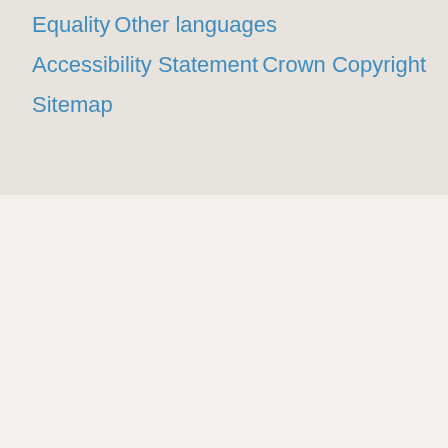Equality
Other languages
Accessibility Statement
Crown Copyright
Sitemap